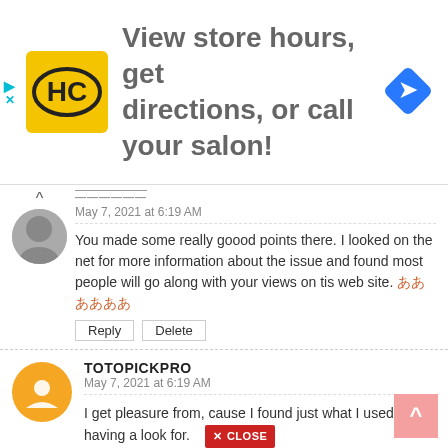[Figure (infographic): Ad banner: HC logo (yellow square with HC letters), text 'View store hours, get directions, or call your salon!', blue navigation diamond icon]
May 7, 2021 at 6:19 AM
You made some really goood points there. I looked on the net for more information about the issue and found most people will go along with your views on tis web site. 안녕하세요
Reply   Delete
TOTOPICKPRO
May 7, 2021 at 6:19 AM
I get pleasure from, cause I found just what I used to be having a look for. [CLOSE] You've ended my four day long hunt! God Bless you man. Have a nice day. 😊😊
Reply   Delete
THOMASJACK